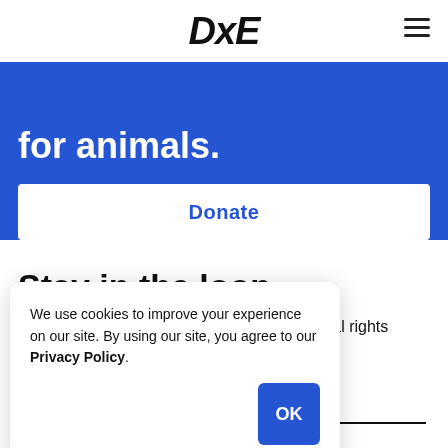DxE
for animals.
Donate
Stay in the loop
Be part of DxE's growing community of animal rights … on news and events.
We use cookies to improve your experience on our site. By using our site, you agree to our Privacy Policy.
OK
Email